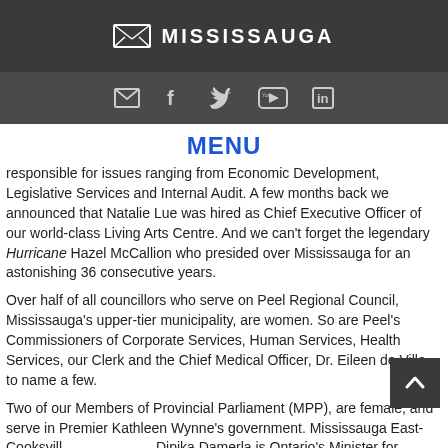MISSISSAUGA
[Figure (other): Mississauga city logo with envelope-style diamond mark and social media icons (email, Facebook, Twitter, YouTube, LinkedIn)]
MENU
responsible for issues ranging from Economic Development, Legislative Services and Internal Audit. A few months back we announced that Natalie Lue was hired as Chief Executive Officer of our world-class Living Arts Centre. And we can't forget the legendary Hurricane Hazel McCallion who presided over Mississauga for an astonishing 36 consecutive years.
Over half of all councillors who serve on Peel Regional Council, Mississauga's upper-tier municipality, are women. So are Peel's Commissioners of Corporate Services, Human Services, Health Services, our Clerk and the Chief Medical Officer, Dr. Eileen de Villa, to name a few.
Two of our Members of Provincial Parliament (MPP), are female, and serve in Premier Kathleen Wynne's government. Mississauga East-Cooksville MPP Dipika Damerla is Ontario's Minister for Seniors Affairs. During the 2015 election, Iqra Khalid was elected Member of Parliament for Mississauga-Erin Mill...